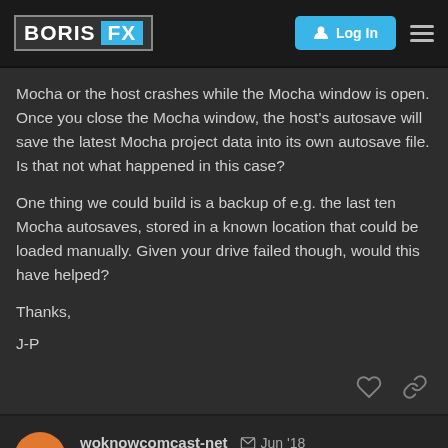BORIS FX | Log In
Mocha or the host crashes while the Mocha window is open. Once you close the Mocha window, the host's autosave will save the latest Mocha project data into its own autosave file. Is that not what happened in this case?
One thing we could build is a backup of e.g. the last ten Mocha autosaves, stored in a known location that could be loaded manually. Given your drive failed though, would this have helped?
Thanks,
J-P
woknowcomcast-net   Jun '18
Version: Version 5.6.0 build 1601 gec4133fb663b